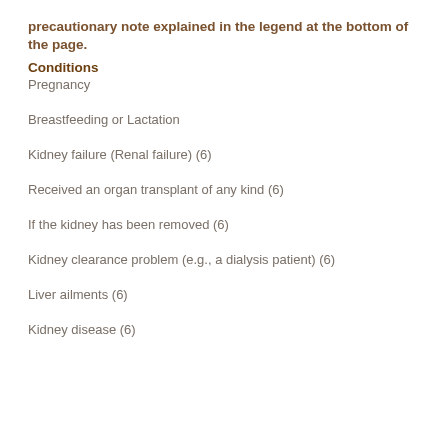precautionary note explained in the legend at the bottom of the page.
Conditions
Pregnancy
Breastfeeding or Lactation
Kidney failure (Renal failure) (6)
Received an organ transplant of any kind (6)
If the kidney has been removed (6)
Kidney clearance problem (e.g., a dialysis patient) (6)
Liver ailments (6)
Kidney disease (6)